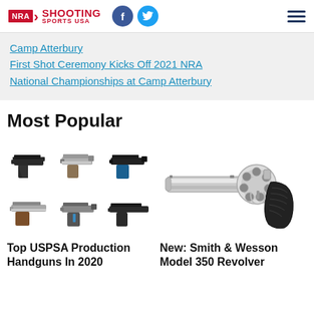NRA Shooting Sports USA
Camp Atterbury
First Shot Ceremony Kicks Off 2021 NRA National Championships at Camp Atterbury
Most Popular
[Figure (photo): Grid of six semi-automatic pistol photos arranged in 3x2 layout]
Top USPSA Production Handguns In 2020
[Figure (photo): Smith & Wesson Model 350 large-frame revolver, silver/stainless finish with black rubber grip]
New: Smith & Wesson Model 350 Revolver